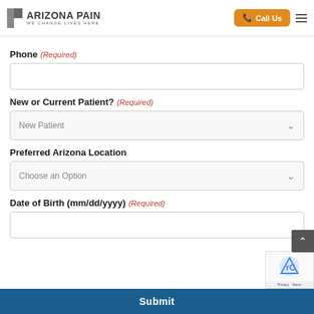Arizona Pain - We Change Lives Here | Call Us
Phone (Required)
[Phone input field]
New or Current Patient? (Required)
New Patient [dropdown]
Preferred Arizona Location
Choose an Option [dropdown]
Date of Birth (mm/dd/yyyy) (Required)
[Date of Birth input field]
Submit